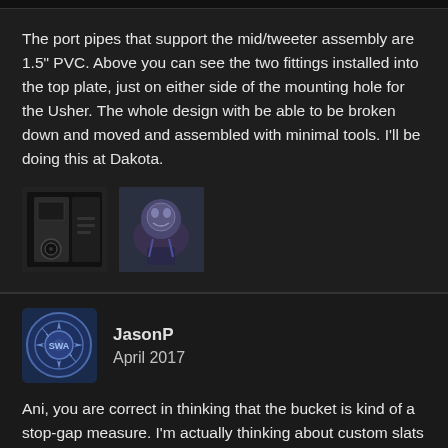The port pipes that support the mid/tweeter assembly are 1.5" PVC. Above you can see the two fittings installed into the top plate, just on either side of the mounting hole for the Usher. The whole design with be able to be broken down and moved and assembled with minimal tools. I'll be doing this at Dakota.
[Figure (photo): Two thumbnail images: a speaker/audio device on the left, and a decorative/figurine object on the right]
JasonP
April 2017
Ani, you are correct in thinking that the bucket is kind of a stop-gap measure. I'm actually thinking about custom slats that link together to form a circle(ish) form for the bass bin. US Plastics is a large company based in Cleveland that just might be able to do something like that for me. I'm looking